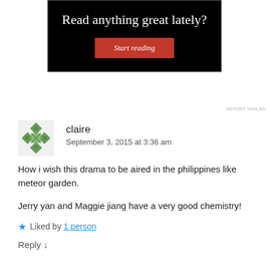[Figure (screenshot): Advertisement banner with black background showing 'Read anything great lately?' text and a red 'Start reading' button]
REPORT THIS AD
claire
September 3, 2015 at 3:36 am
How i wish this drama to be aired in the philippines like meteor garden.
Jerry yan and Maggie jiang have a very good chemistry!
Liked by 1 person
Reply ↓